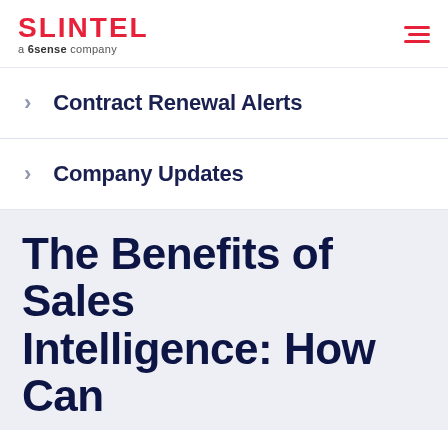SLINTEL a 6sense company
Contract Renewal Alerts
Company Updates
The Benefits of Sales Intelligence: How Can